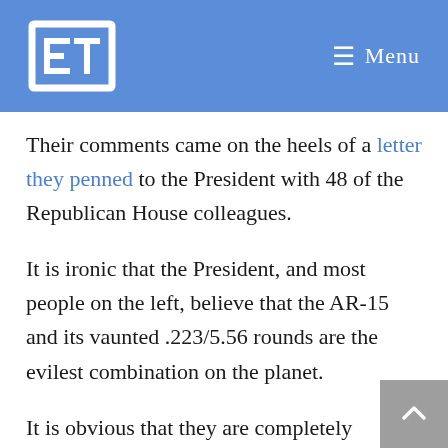ET  ≡ Menu
Their comments came on the heels of a letter they penned to the President with 48 of the Republican House colleagues.
It is ironic that the President, and most people on the left, believe that the AR-15 and its vaunted .223/5.56 rounds are the evilest combination on the planet.
It is obvious that they are completely unaware that there are approximately 70 rifle calibers larger, more powerful and